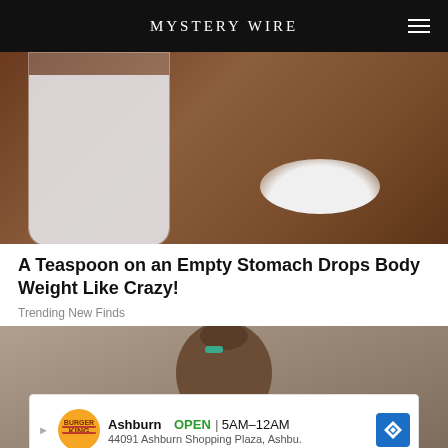MYSTERY WIRE
[Figure (photo): A glass container filled with white powder and a small pile of white powder beside it on a wooden surface.]
A Teaspoon on an Empty Stomach Drops Body Weight Like Crazy!
Trending New Finds
[Figure (photo): A woman with brown hair in a bun facing away, with a circular close button overlay and a Burger King advertisement banner at the bottom.]